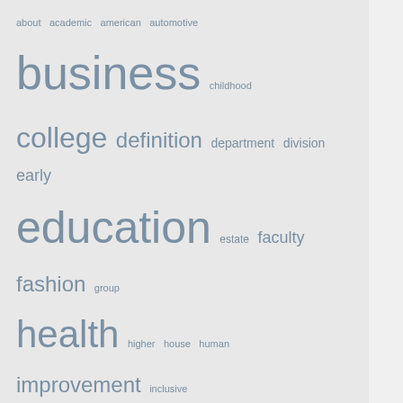[Figure (infographic): Tag cloud with education-related keywords in varying sizes and shades of steel blue/grey, including words like business, education, kindergarten, technology, health, college, etc.]
About Us
Sitemap
Sitemap